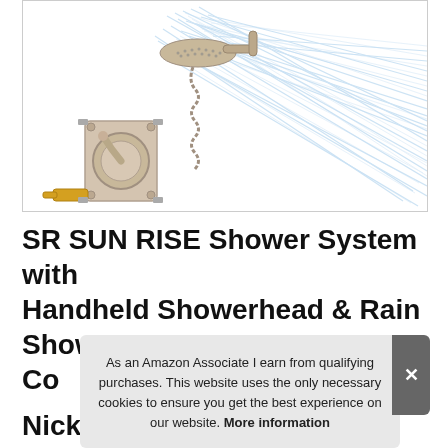[Figure (photo): Product photo of SR SUN RISE shower system showing a handheld showerhead spraying water diagonally, and a brushed nickel shower valve/trim with a lever handle on the left side.]
SR SUN RISE Shower System with Handheld Showerhead & Rain Shower Co Du Wa Nickel [Valve Included]
As an Amazon Associate I earn from qualifying purchases. This website uses the only necessary cookies to ensure you get the best experience on our website. More information